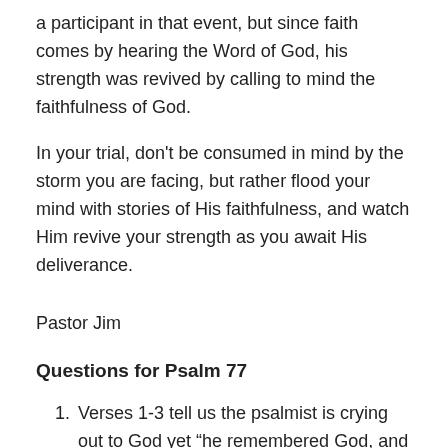a participant in that event, but since faith comes by hearing the Word of God, his strength was revived by calling to mind the faithfulness of God.
In your trial, don’t be consumed in mind by the storm you are facing, but rather flood your mind with stories of His faithfulness, and watch Him revive your strength as you await His deliverance.
Pastor Jim
Questions for Psalm 77
Verses 1-3 tell us the psalmist is crying out to God yet “he remembered God, and was troubled.” Have you ever cried out to the Lord yet felt He was not listening?